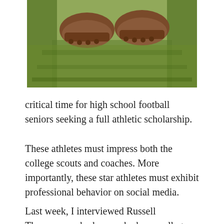[Figure (photo): Partial photo showing football cleats/shoes on green grass, cropped at top of page]
critical time for high school football seniors seeking a full athletic scholarship.
These athletes must impress both the college scouts and coaches. More importantly, these star athletes must exhibit professional behavior on social media.
Last week, I interviewed Russell Thompson, who has worked as a college scout and was a high school coach for 14 years. Russell is owner and executive producer for an HD video production